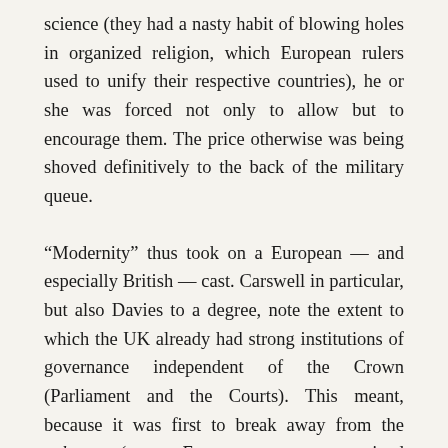science (they had a nasty habit of blowing holes in organized religion, which European rulers used to unify their respective countries), he or she was forced not only to allow but to encourage them. The price otherwise was being shoved definitively to the back of the military queue.
“Modernity” thus took on a European — and especially British — cast. Carswell in particular, but also Davies to a degree, note the extent to which the UK already had strong institutions of governance independent of the Crown (Parliament and the Courts). This meant, because it was first to break away from the peloton (most European states remained absolute monarchies), liberal democracy and market capitalism were twinned in the minds of many observers. For decades, the claim that one